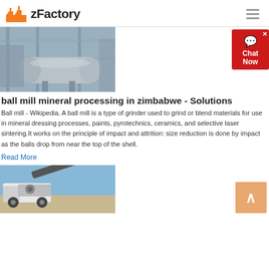zFactory
[Figure (photo): Industrial ball mill equipment inside a factory building with steel framework and large cylindrical drum]
[Figure (other): Red chat now widget in top right corner]
ball mill mineral processing in zimbabwe - Solutions
Ball mill - Wikipedia. A ball mill is a type of grinder used to grind or blend materials for use in mineral dressing processes, paints, pyrotechnics, ceramics, and selective laser sintering.It works on the principle of impact and attrition: size reduction is done by impact as the balls drop from near the top of the shell.
Read More
[Figure (photo): Mobile crusher/screening machine on a flatbed truck, white body with articulated conveyor arm, blue sky background]